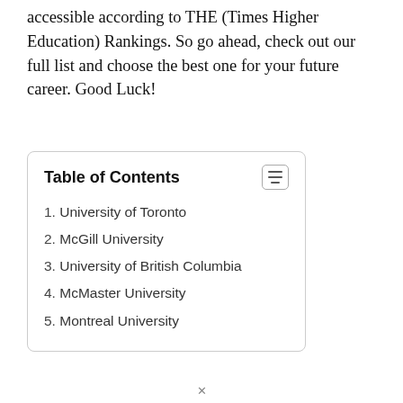accessible according to THE (Times Higher Education) Rankings. So go ahead, check out our full list and choose the best one for your future career. Good Luck!
Table of Contents
1. University of Toronto
2. McGill University
3. University of British Columbia
4. McMaster University
5. Montreal University